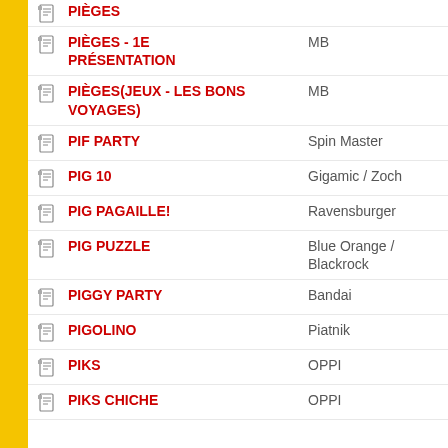PIÈGES - 1E PRÉSENTATION | MB
PIÈGES(JEUX - LES BONS VOYAGES) | MB
PIF PARTY | Spin Master
PIG 10 | Gigamic / Zoch
PIG PAGAILLE! | Ravensburger
PIG PUZZLE | Blue Orange / Blackrock
PIGGY PARTY | Bandai
PIGOLINO | Piatnik
PIKS | OPPI
PIKS CHICHE | OPPI